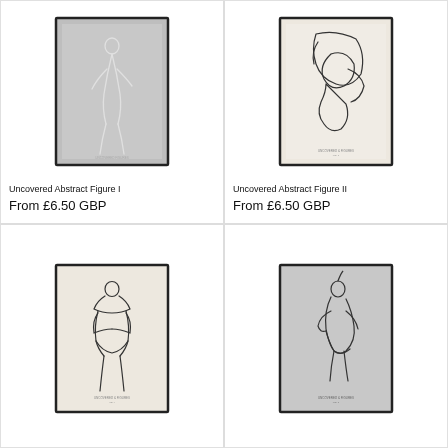[Figure (illustration): Framed art print with grey background showing a minimalist line figure drawing in white lines]
Uncovered Abstract Figure I
From £6.50 GBP
[Figure (illustration): Framed art print with cream/beige background showing abstract line figure drawing in dark lines]
Uncovered Abstract Figure II
From £6.50 GBP
[Figure (illustration): Framed art print with beige background showing minimalist line drawing of standing figure from behind]
[Figure (illustration): Framed art print with grey background showing minimalist line drawing of a figure]